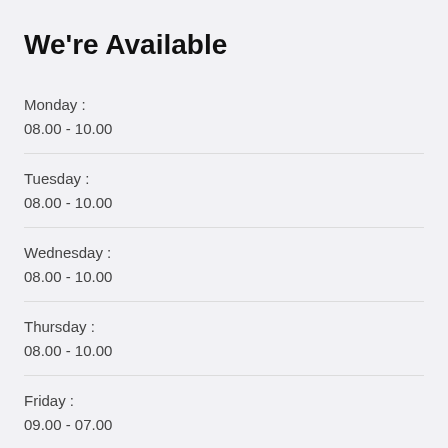We're Available
Monday :
08.00 - 10.00
Tuesday :
08.00 - 10.00
Wednesday :
08.00 - 10.00
Thursday :
08.00 - 10.00
Friday :
09.00 - 07.00
Saturday :